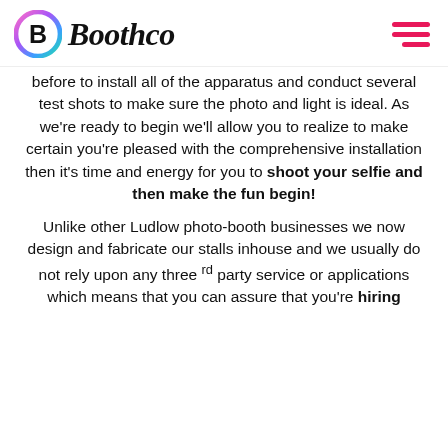Boothco
before to install all of the apparatus and conduct several test shots to make sure the photo and light is ideal. As we're ready to begin we'll allow you to realize to make certain you're pleased with the comprehensive installation then it's time and energy for you to shoot your selfie and then make the fun begin!
Unlike other Ludlow photo-booth businesses we now design and fabricate our stalls inhouse and we usually do not rely upon any three rd party service or applications which means that you can assure that you're hiring